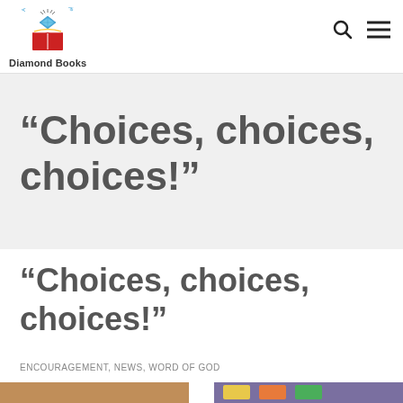[Figure (logo): Diamond Books logo — a bible with a diamond shape above it, circular text reading 'A Bible-Based Reading Project', with 'Diamond Books' text below]
“Choices, choices, choices!”
“Choices, choices, choices!”
ENCOURAGEMENT, NEWS, WORD OF GOD
[Figure (photo): Two partial thumbnail images at the bottom of the page]